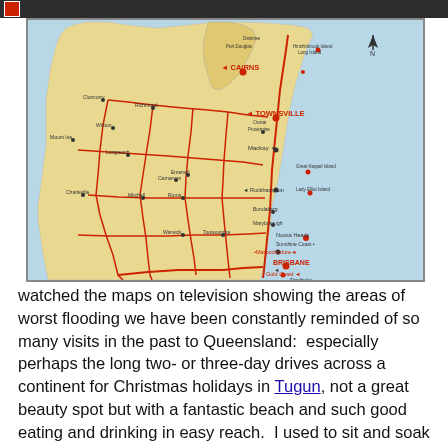[navigation bar]
[Figure (map): Map of Queensland, Australia showing major cities, towns, highways, and coastal islands. Notable locations marked include Cairns, Townsville, Mackay, Rockhampton, Brisbane, Gold Coast, Maroochydore, Noosa Heads, and many other towns. Red lines indicate major roads/highways. Red dots mark locations. North arrow in upper right.]
watched the maps on television showing the areas of worst flooding we have been constantly reminded of so many visits in the past to Queensland:  especially perhaps the long two- or three-day drives across a continent for Christmas holidays in Tugun, not a great beauty spot but with a fantastic beach and such good eating and drinking in easy reach.  I used to sit and soak in the sun in the whirlpool (spa)